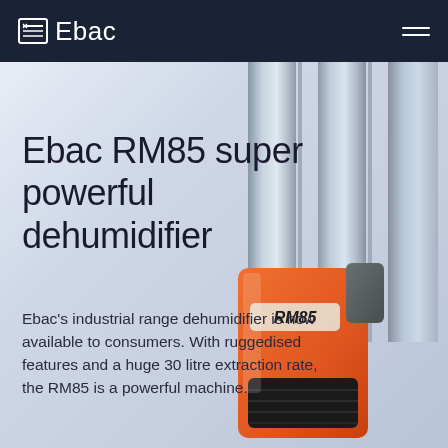Ebac
[Figure (photo): Product photo of Ebac RM85 orange industrial dehumidifier with metallic pipes in the background]
Ebac RM85 super powerful dehumidifier
Ebac’s industrial range dehumidifier is now available to consumers. With ruggedised features and a huge 30 litre extraction rate, the RM85 is a powerful machine.